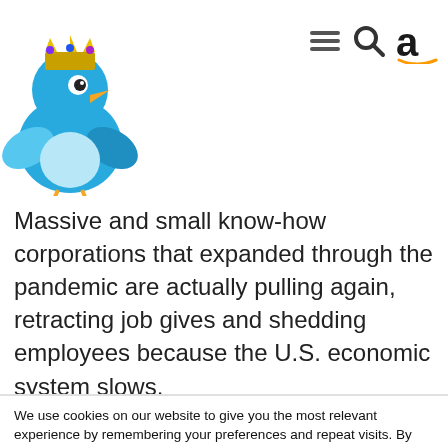[Figure (logo): Blue cartoon bird with crown logo (Twitter-style bird mascot wearing a jeweled crown), positioned top-left]
[Figure (logo): Amazon logo 'a' with orange arrow smile, top-right navigation icon]
Massive and small know-how corporations that expanded through the pandemic are actually pulling again, retracting job gives and shedding employees because the U.S. economic system slows.
We use cookies on our website to give you the most relevant experience by remembering your preferences and repeat visits. By clicking “Accept”, you consent to the use of ALL the cookies.
Do not sell my personal information.
Cookie Settings
Accept